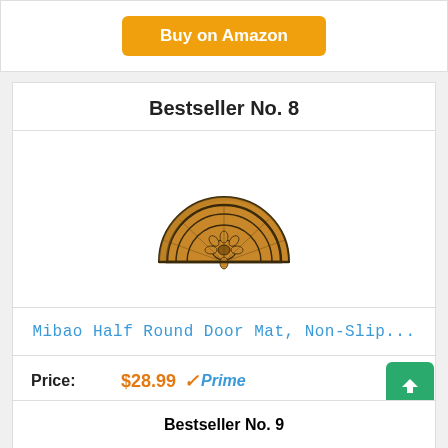[Figure (other): Orange 'Buy on Amazon' button (top, partially visible)]
Bestseller No. 8
[Figure (photo): Half-round decorative coir door mat with floral/sunburst pattern, tan/brown color on white background]
Mibao Half Round Door Mat, Non-Slip...
Price: $28.99 ✓Prime
[Figure (other): Orange 'Buy on Amazon' button]
Bestseller No. 9